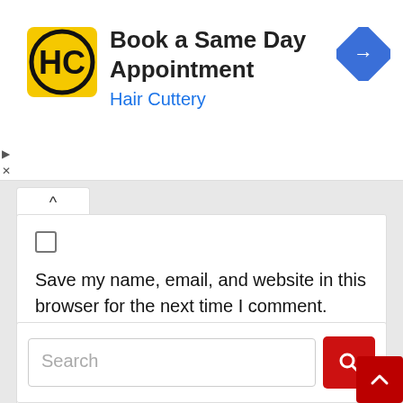[Figure (screenshot): Advertisement banner for Hair Cuttery with logo, title 'Book a Same Day Appointment', subtitle 'Hair Cuttery', and a blue navigation arrow icon]
Save my name, email, and website in this browser for the next time I comment.
[Figure (screenshot): Red 'Post Comment' button]
[Figure (screenshot): Search bar with red search icon button and red scroll-to-top button]